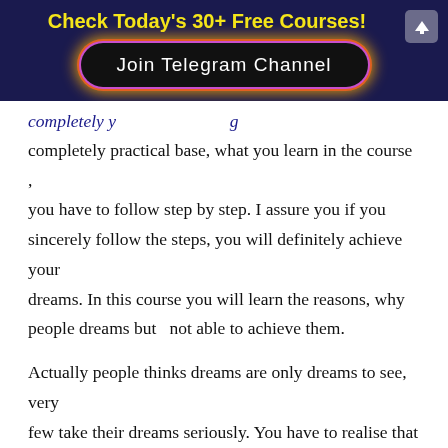Check Today's 30+ Free Courses!
[Figure (screenshot): Join Telegram Channel button with glowing border on dark background]
completely practical base, what you learn in the course , you have to follow step by step. I assure you if you sincerely follow the steps, you will definitely achieve your dreams. In this course you will learn the reasons, why people dreams but  not able to achieve them.
Actually people thinks dreams are only dreams to see, very few take their dreams seriously. You have to realise that Dreams are not only Dreams , those are Duties and Responsibilities the Universe has assigned to us.
The dreams which you see, are all achievable,  only you have to work in a certain way. You need a certain types of